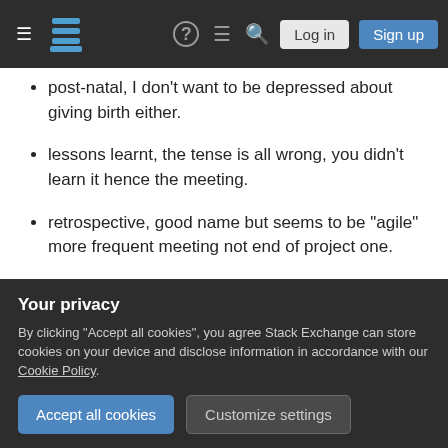Stack Exchange navigation bar with hamburger menu, logo, help, chat, search icons, Log in and Sign up buttons
post-natal, I don't want to be depressed about giving birth either.
lessons learnt, the tense is all wrong, you didn't learn it hence the meeting.
retrospective, good name but seems to be "agile" more frequent meeting not end of project one.
Some other ideas I had recently:
biopsy "the process of removing and examining...
[Figure (screenshot): Privacy cookie consent overlay with title 'Your privacy', description text, Accept all cookies and Customize settings buttons]
about a completed mission or undertaking." bit